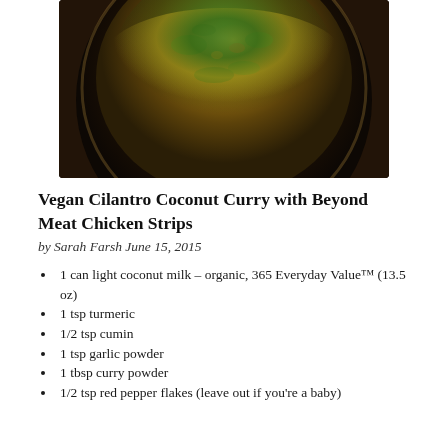[Figure (photo): Overhead view of a round pan or bowl containing a curry dish topped with green cilantro and spices, set on a dark wooden surface.]
Vegan Cilantro Coconut Curry with Beyond Meat Chicken Strips
by Sarah Farsh June 15, 2015
1 can light coconut milk – organic, 365 Everyday Value™ (13.5 oz)
1 tsp turmeric
1/2 tsp cumin
1 tsp garlic powder
1 tbsp curry powder
1/2 tsp red pepper flakes (leave out if you're a baby)